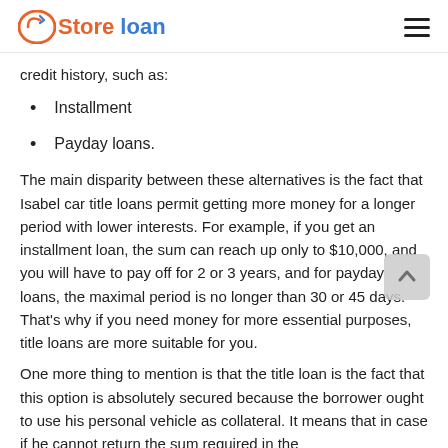Store loan
credit history, such as:
Installment
Payday loans.
The main disparity between these alternatives is the fact that Isabel car title loans permit getting more money for a longer period with lower interests. For example, if you get an installment loan, the sum can reach up only to $10,000, and you will have to pay off for 2 or 3 years, and for payday loans, the maximal period is no longer than 30 or 45 days. That's why if you need money for more essential purposes, title loans are more suitable for you.
One more thing to mention is that the title loan is the fact that this option is absolutely secured because the borrower ought to use his personal vehicle as collateral. It means that in case if he cannot return the sum required in the